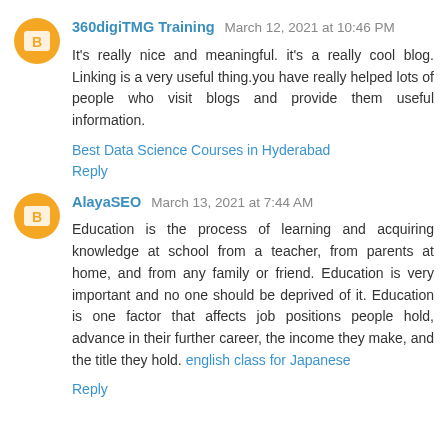360digiTMG Training  March 12, 2021 at 10:46 PM
It's really nice and meaningful. it's a really cool blog. Linking is a very useful thing.you have really helped lots of people who visit blogs and provide them useful information.
Best Data Science Courses in Hyderabad
Reply
AlayaSEO  March 13, 2021 at 7:44 AM
Education is the process of learning and acquiring knowledge at school from a teacher, from parents at home, and from any family or friend. Education is very important and no one should be deprived of it. Education is one factor that affects job positions people hold, advance in their further career, the income they make, and the title they hold. english class for Japanese
Reply